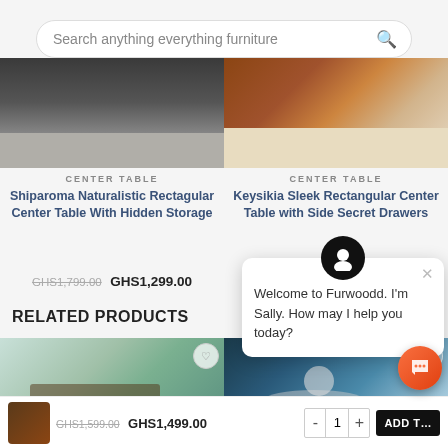[Figure (screenshot): Search bar with placeholder text 'Search anything everything furniture' and search icon]
[Figure (photo): Dark rectangular center table product image - top portion cut off]
CENTER TABLE
Shiparoma Naturalistic Rectagular Center Table With Hidden Storage
GHS1,799.00  GHS1,299.00
[Figure (photo): Brown wooden center table with drawers product image]
CENTER TABLE
Keysikia Sleek Rectangular Center Table with Side Secret Drawers
GHS1,799.00  GHS1,299.00
RELATED PRODUCTS
[Figure (photo): Related product left - table with plant on top]
[Figure (photo): Related product right - table with bowl display]
[Figure (screenshot): Chat popup from Sally: Welcome to Furwoodd. I'm Sally. How may I help you today?]
GHS1,599.00  GHS1,499.00
ADD T...